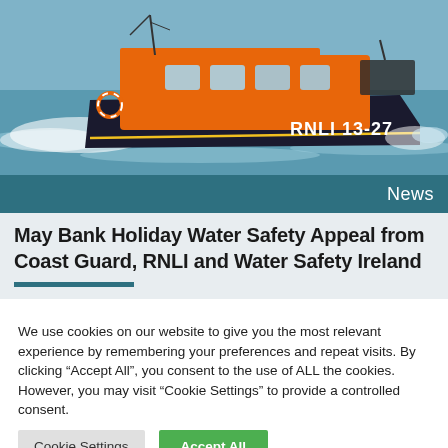[Figure (photo): Orange RNLI lifeboat numbered 13-27 speeding through choppy blue-grey sea water, viewed from the side, with white wake behind it.]
News
May Bank Holiday Water Safety Appeal from Coast Guard, RNLI and Water Safety Ireland
We use cookies on our website to give you the most relevant experience by remembering your preferences and repeat visits. By clicking “Accept All”, you consent to the use of ALL the cookies. However, you may visit "Cookie Settings" to provide a controlled consent.
Cookie Settings | Accept All